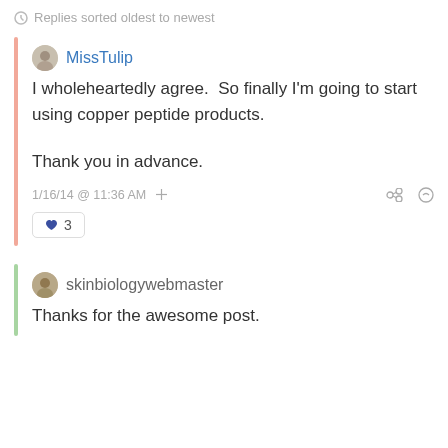Replies sorted oldest to newest
MissTulip
I wholeheartedly agree.  So finally I'm going to start using copper peptide products.

Thank you in advance.

1/16/14 @ 11:36 AM
♥ 3
skinbiologywebmaster
Thanks for the awesome post.